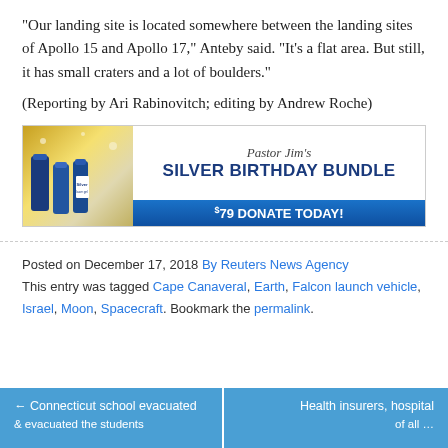“Our landing site is located somewhere between the landing sites of Apollo 15 and Apollo 17,” Anteby said. “It’s a flat area. But still, it has small craters and a lot of boulders.”
(Reporting by Ari Rabinovitch; editing by Andrew Roche)
[Figure (other): Advertisement banner for Pastor Jim’s Silver Birthday Bundle — $79 Donate Today!]
Posted on December 17, 2018 By Reuters News Agency
This entry was tagged Cape Canaveral, Earth, Falcon launch vehicle, Israel, Moon, Spacecraft. Bookmark the permalink.
← Connecticut school evacuated | Health insurers, hospital